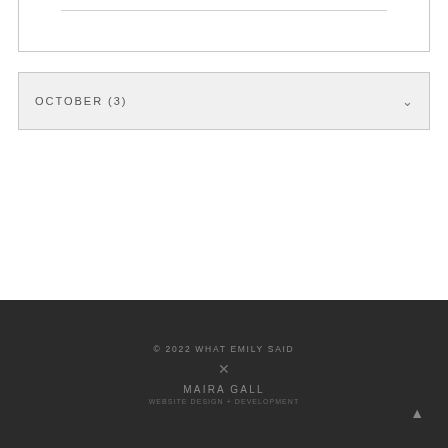OCTOBER (3)
© 2022 WHAT EMILY SAID
MAIRA GALL